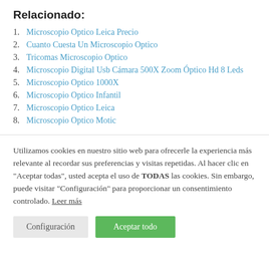Relacionado:
1. Microscopio Optico Leica Precio
2. Cuanto Cuesta Un Microscopio Optico
3. Tricomas Microscopio Optico
4. Microscopio Digital Usb Cámara 500X Zoom Óptico Hd 8 Leds
5. Microscopio Optico 1000X
6. Microscopio Optico Infantil
7. Microscopio Optico Leica
8. Microscopio Optico Motic
Utilizamos cookies en nuestro sitio web para ofrecerle la experiencia más relevante al recordar sus preferencias y visitas repetidas. Al hacer clic en "Aceptar todas", usted acepta el uso de TODAS las cookies. Sin embargo, puede visitar "Configuración" para proporcionar un consentimiento controlado. Leer más